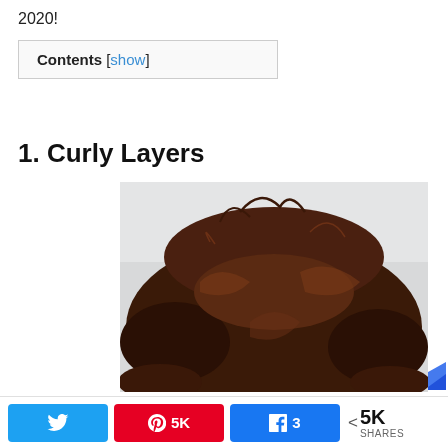2020!
Contents [show]
1. Curly Layers
[Figure (photo): Top-down view of a person's head with curly, wavy brown hair, photographed against a light gray/white wall background.]
Twitter share button | Pinterest 5K | Facebook 3 | < 5K SHARES